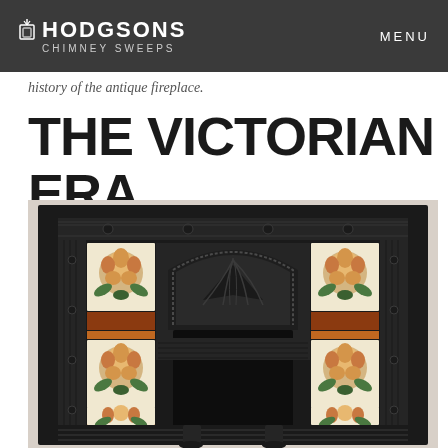HODGSONS CHIMNEY SWEEPS | MENU
history of the antique fireplace.
THE VICTORIAN ERA
[Figure (photo): A Victorian cast iron fireplace insert with ornate floral tiles on both sides and decorative arched hood, viewed from the front.]